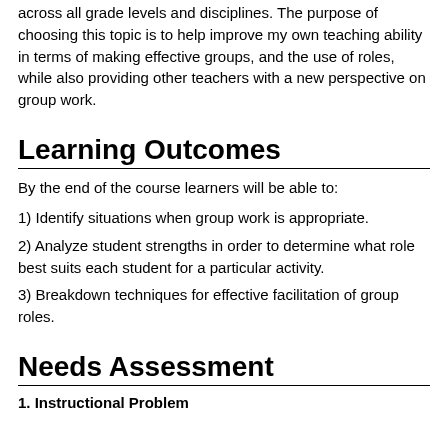across all grade levels and disciplines. The purpose of choosing this topic is to help improve my own teaching ability in terms of making effective groups, and the use of roles, while also providing other teachers with a new perspective on group work.
Learning Outcomes
By the end of the course learners will be able to:
1) Identify situations when group work is appropriate.
2) Analyze student strengths in order to determine what role best suits each student for a particular activity.
3) Breakdown techniques for effective facilitation of group roles.
Needs Assessment
1. Instructional Problem